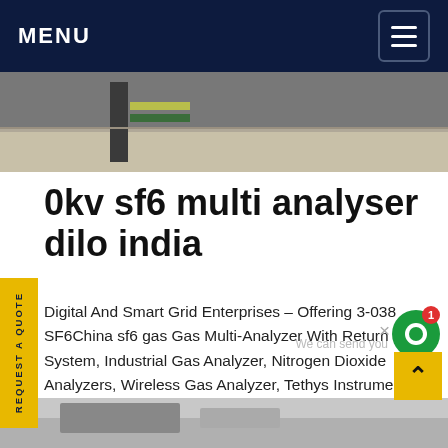MENU
[Figure (photo): Outdoor industrial or street-level photo showing pavement and a yellow-green post or bollard]
0kv sf6 multi analyser dilo india
Digital And Smart Grid Enterprises - Offering 3-038 SF6China sf6 gas Gas Multi-Analyzer With Return System, Industrial Gas Analyzer, Nitrogen Dioxide Analyzers, Wireless Gas Analyzer, Tethys Instruments Gas Analyzers, Applied Techno Systems Gas Analyzers in Navi Mumbai, Maharashtra. Get best price and read about company. Get contact details and address| ID: Get price
[Figure (photo): Partial bottom photo of industrial equipment]